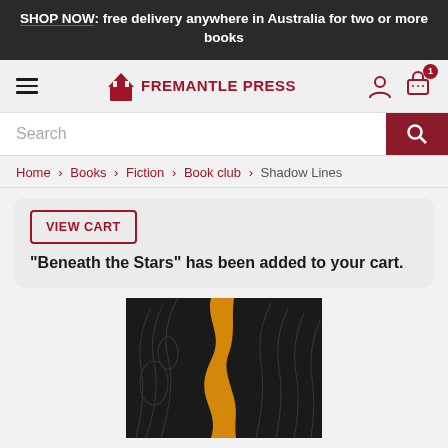SHOP NOW: free delivery anywhere in Australia for two or more books
FREMANTLE PRESS
Search
Home > Books > Fiction > Book club > Shadow Lines
VIEW CART  "Beneath the Stars" has been added to your cart.
[Figure (photo): Book cover of Shadow Lines showing abstract topographic lines on dark background with orange wavy shape]